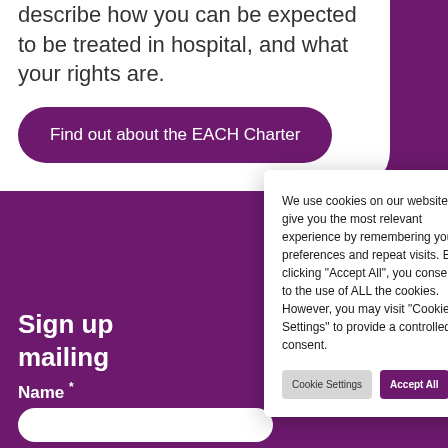describe how you can be expected to be treated in hospital, and what your rights are.
Find out about the EACH Charter
Sign up mailing
Name *
We use cookies on our website to give you the most relevant experience by remembering your preferences and repeat visits. By clicking "Accept All", you consent to the use of ALL the cookies. However, you may visit "Cookie Settings" to provide a controlled consent.
Cookie Settings
Accept All